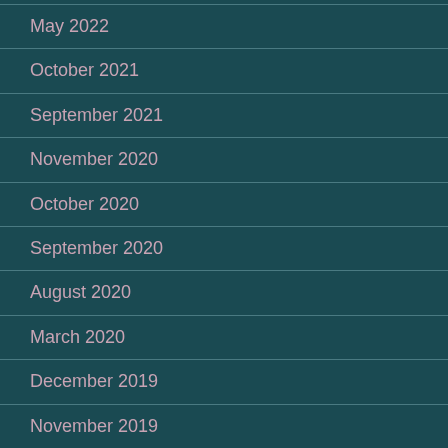May 2022
October 2021
September 2021
November 2020
October 2020
September 2020
August 2020
March 2020
December 2019
November 2019
October 2019